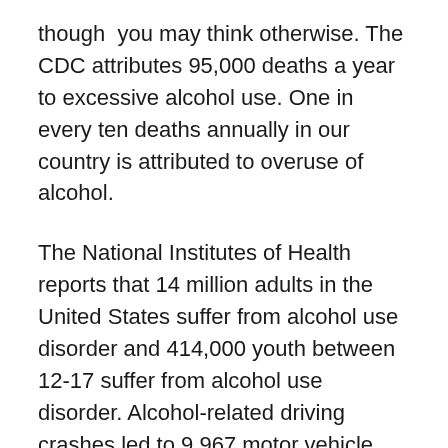though you may think otherwise. The CDC attributes 95,000 deaths a year to excessive alcohol use. One in every ten deaths annually in our country is attributed to overuse of alcohol.
The National Institutes of Health reports that 14 million adults in the United States suffer from alcohol use disorder and 414,000 youth between 12-17 suffer from alcohol use disorder. Alcohol-related driving crashes led to 9,967 motor vehicle fatalities in 2014, according to the NIH.
The consequences of youth alcohol consumption are even more devastating because substance use while the brain is still